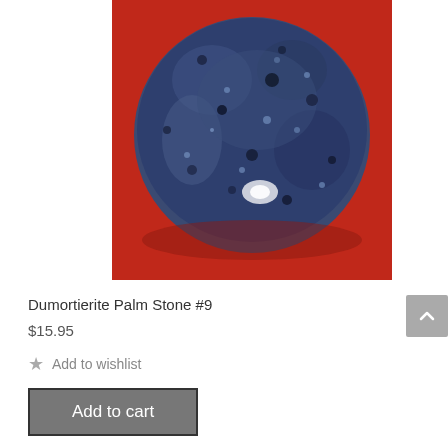[Figure (photo): Close-up photo of a polished Dumortierite palm stone with deep blue color and black speckles, shown on a red background]
Dumortierite Palm Stone #9
$15.95
Add to wishlist
Add to cart